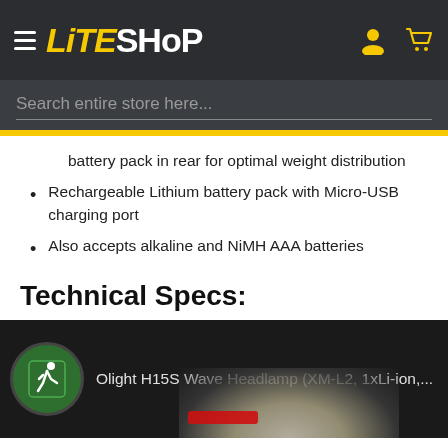LITESHOP
Search entire store here...
battery pack in rear for optimal weight distribution
Rechargeable Lithium battery pack with Micro-USB charging port
Also accepts alkaline and NiMH AAA batteries
Technical Specs:
[Figure (screenshot): YouTube video thumbnail for Olight H15S Wave Headlamp (XM-L2, 1xLi-ion, ...) showing headlamp beam and video controls]